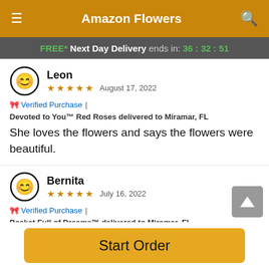Amazon Flowers
FREE* Next Day Delivery ends in: 36:32:51
Leon
★★★★★ August 17, 2022
🎀 Verified Purchase | Devoted to You™ Red Roses delivered to Miramar, FL
She loves the flowers and says the flowers were beautiful.
Bernita
★★★★★ July 16, 2022
🎀 Verified Purchase | Basket Full of Dreams™ delivered to Miramar, FL
Start Order